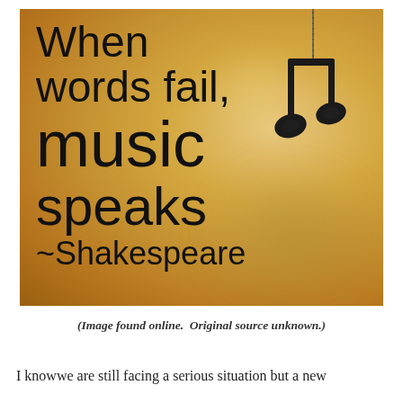[Figure (illustration): Motivational quote image with warm golden bokeh background. Text reads: 'When words fail, music speaks ~Shakespeare' with a hanging musical note charm on a chain in the upper right.]
(Image found online.  Original source unknown.)
I knowwe are still facing a serious situation but a new